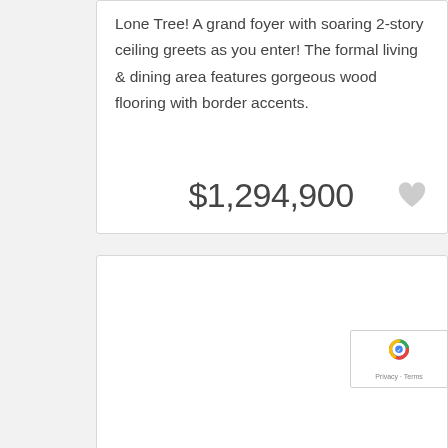Lone Tree! A grand foyer with soaring 2-story ceiling greets as you enter! The formal living & dining area features gorgeous wood flooring with border accents.
$1,294,900
[Figure (other): Empty white card / listing placeholder area with reCAPTCHA badge visible in lower right corner]